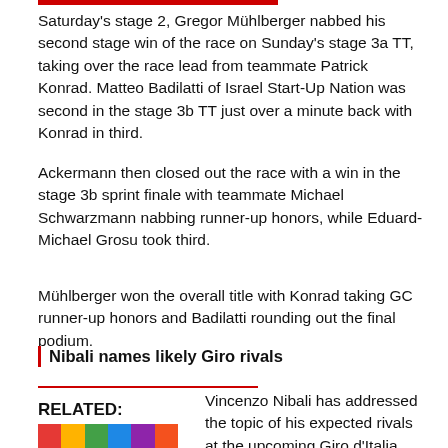Saturday's stage 2, Gregor Mühlberger nabbed his second stage win of the race on Sunday's stage 3a TT, taking over the race lead from teammate Patrick Konrad. Matteo Badilatti of Israel Start-Up Nation was second in the stage 3b TT just over a minute back with Konrad in third.
Ackermann then closed out the race with a win in the stage 3b sprint finale with teammate Michael Schwarzmann nabbing runner-up honors, while Eduard-Michael Grosu took third.
Mühlberger won the overall title with Konrad taking GC runner-up honors and Badilatti rounding out the final podium.
Nibali names likely Giro rivals
Vincenzo Nibali has addressed the topic of his expected rivals at the upcoming Giro d'Italia, naming a